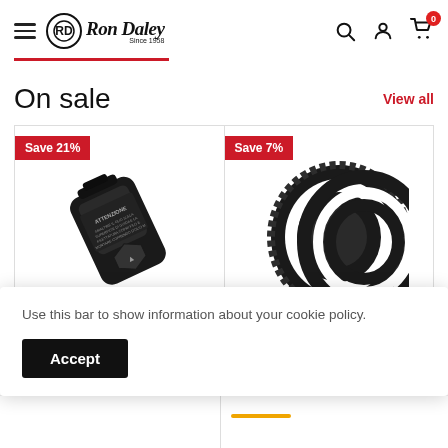[Figure (screenshot): Ron Daley website header with hamburger menu, logo, search icon, account icon, and cart icon with badge showing 0]
On sale
View all
[Figure (photo): Product card with 'Save 21%' red badge and black oil filter product image (ATTENZIONE label visible)]
[Figure (photo): Product card with 'Save 7%' red badge and black/white wall tire image]
Use this bar to show information about your cookie policy.
Accept